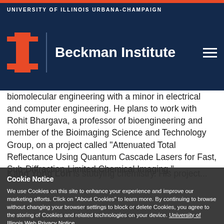UNIVERSITY OF ILLINOIS URBANA-CHAMPAIGN
[Figure (logo): University of Illinois block I logo in orange, with vertical divider line and 'Beckman Institute' text in white on dark navy background, with hamburger menu icon]
biomolecular engineering with a minor in electrical and computer engineering. He plans to work with Rohit Bhargava, a professor of bioengineering and member of the Bioimaging Science and Technology Group, on a project called "Attenuated Total Reflectance Using Quantum Cascade Lasers for Fast, Sub-Diffraction-Limited Chemical Imaging."
Kang Yong Loh is studying chemistry. His project...
Cookie Notice
We use Cookies on this site to enhance your experience and improve our marketing efforts. Click on "About Cookies" to learn more. By continuing to browse without changing your browser settings to block or delete Cookies, you agree to the storing of Cookies and related technologies on your device. University of Illinois Web Privacy Notice